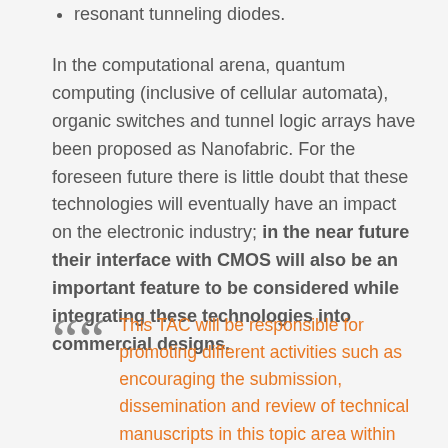resonant tunneling diodes.
In the computational arena, quantum computing (inclusive of cellular automata), organic switches and tunnel logic arrays have been proposed as Nanofabric. For the foreseen future there is little doubt that these technologies will eventually have an impact on the electronic industry; in the near future their interface with CMOS will also be an important feature to be considered while integrating these technologies into commercial designs.
This TAC will be responsible for promoting different activities such as encouraging the submission, dissemination and review of technical manuscripts in this topic area within TTTC sponsored meetings as well as Special Sessions, Tutorials and Workshops to